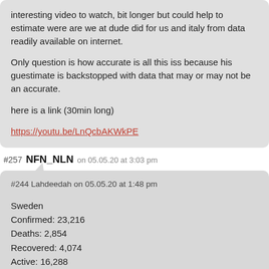interesting video to watch, bit longer but could help to estimate were are we at dude did for us and italy from data readily available on internet.
Only question is how accurate is all this iss because his guestimate is backstopped with data that may or may not be an accurate.
here is a link (30min long)
https://youtu.be/LnQcbAKWkPE
#257 NFN_NLN on 05.05.20 at 3:03 pm
#244 Lahdeedah on 05.05.20 at 1:48 pm
Sweden
Confirmed: 23,216
Deaths: 2,854
Recovered: 4,074
Active: 16,288
Do the math. That's right, it's still:
Sweden